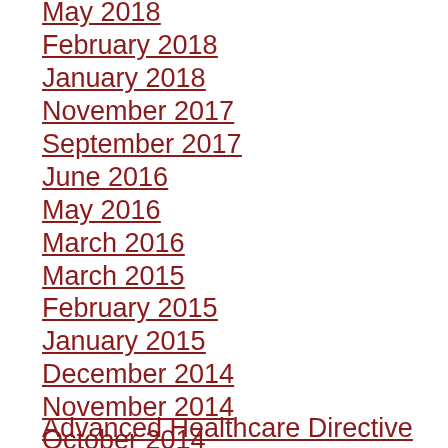May 2018
February 2018
January 2018
November 2017
September 2017
June 2016
May 2016
March 2016
March 2015
February 2015
January 2015
December 2014
November 2014
October 2014
Advanced Healthcare Directive